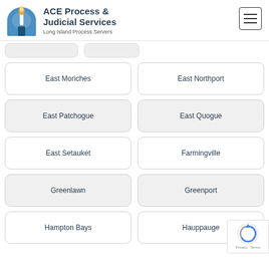ACE Process & Judicial Services — Long Island Process Servers
East Moriches
East Northport
East Patchogue
East Quogue
East Setauket
Farmingville
Greenlawn
Greenport
Hampton Bays
Hauppauge